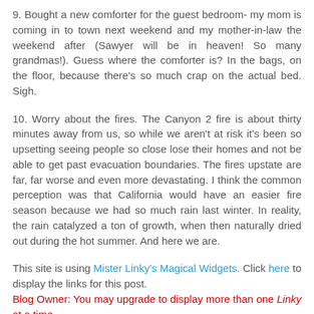9. Bought a new comforter for the guest bedroom- my mom is coming in to town next weekend and my mother-in-law the weekend after (Sawyer will be in heaven! So many grandmas!). Guess where the comforter is? In the bags, on the floor, because there's so much crap on the actual bed. Sigh.
10. Worry about the fires. The Canyon 2 fire is about thirty minutes away from us, so while we aren't at risk it's been so upsetting seeing people so close lose their homes and not be able to get past evacuation boundaries. The fires upstate are far, far worse and even more devastating. I think the common perception was that California would have an easier fire season because we had so much rain last winter. In reality, the rain catalyzed a ton of growth, when then naturally dried out during the hot summer. And here we are.
This site is using Mister Linky's Magical Widgets. Click here to display the links for this post.
Blog Owner: You may upgrade to display more than one Linky at a time.